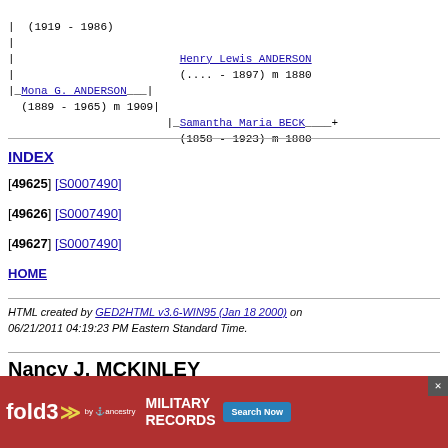| (1919 - 1986)
|
|                         Henry Lewis ANDERSON
|                         (.... - 1897) m 1880
|_Mona G. ANDERSON___|
  (1889 - 1965) m 1909|
                        |_Samantha Maria BECK____+
                          (1858 - 1923) m 1880
INDEX
[49625] [S0007490]
[49626] [S0007490]
[49627] [S0007490]
HOME
HTML created by GED2HTML v3.6-WIN95 (Jan 18 2000) on 06/21/2011 04:19:23 PM Eastern Standard Time.
Nancy J. MCKINLEY
[Figure (other): fold3 by Ancestry advertisement banner for Military Records with Search Now button]